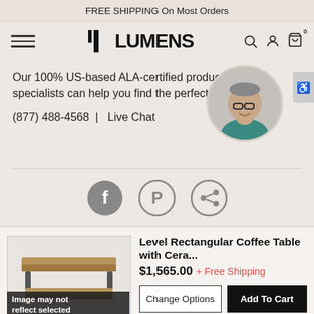FREE SHIPPING On Most Orders
[Figure (logo): Lumens brand logo with vertical bar and bold text]
Our 100% US-based ALA-certified product specialists can help you find the perfect product
[Figure (photo): Circular portrait photo of a smiling middle-aged man wearing glasses and a teal shirt]
(877) 488-4568  |  Live Chat
[Figure (infographic): Social share icons: Facebook, Pinterest, Share]
[Figure (photo): Product image of Level Rectangular Coffee Table with Ceramic top]
Image may not reflect selected
Level Rectangular Coffee Table with Cera...
$1,565.00 + Free Shipping